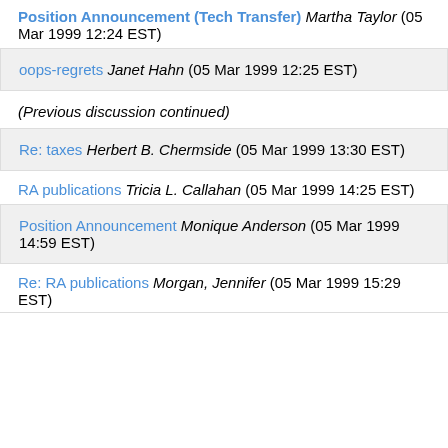Position Announcement (Tech Transfer) Martha Taylor (05 Mar 1999 12:24 EST)
oops-regrets Janet Hahn (05 Mar 1999 12:25 EST)
(Previous discussion continued)
Re: taxes Herbert B. Chermside (05 Mar 1999 13:30 EST)
RA publications Tricia L. Callahan (05 Mar 1999 14:25 EST)
Position Announcement Monique Anderson (05 Mar 1999 14:59 EST)
Re: RA publications Morgan, Jennifer (05 Mar 1999 15:29 EST)